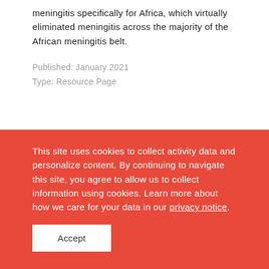meningitis specifically for Africa, which virtually eliminated meningitis across the majority of the African meningitis belt.
Published: January 2021
Type: Resource Page
This site uses cookies to collect activity data and personalize content. By continuing to navigate this site, you agree to allow us to collect information using cookies. Learn more about how we care for your data in our privacy notice.